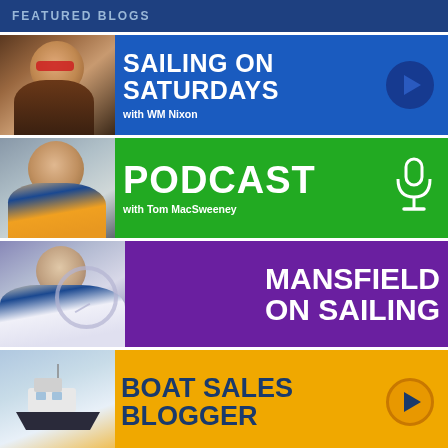FEATURED BLOGS
[Figure (illustration): Blue banner with man wearing sunglasses. Title: SAILING ON SATURDAYS with WM Nixon. Play button arrow on right.]
[Figure (illustration): Green banner with man in life vest. Title: PODCAST with Tom MacSweeney. Microphone icon on right.]
[Figure (illustration): Purple banner with man at boat helm. Title: MANSFIELD ON SAILING.]
[Figure (illustration): Yellow/orange banner with boat image. Title: BOAT SALES BLOGGER. Play button arrow on right.]